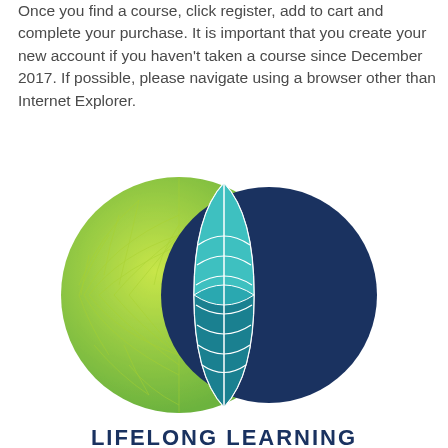Once you find a course, click register, add to cart and complete your purchase. It is important that you create your new account if you haven't taken a course since December 2017. If possible, please navigate using a browser other than Internet Explorer.
[Figure (logo): Lifelong Learning logo: two overlapping circles (green leaf-textured circle on left, dark navy circle on right) with a teal leaf/feather shape in the intersection, and 'LIFELONG LEARNING' text below in dark blue.]